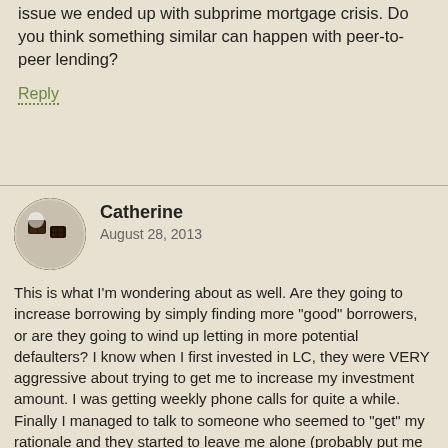issue we ended up with subprime mortgage crisis. Do you think something similar can happen with peer-to-peer lending?
Reply
[Figure (photo): Circular avatar photo showing chocolate pieces on a white background]
Catherine
August 28, 2013
This is what I'm wondering about as well. Are they going to increase borrowing by simply finding more "good" borrowers, or are they going to wind up letting in more potential defaulters? I know when I first invested in LC, they were VERY aggressive about trying to get me to increase my investment amount. I was getting weekly phone calls for quite a while. Finally I managed to talk to someone who seemed to "get" my rationale and they started to leave me alone (probably put me into their "hopeless cases" file!).
I am personally a bit leery of LC after having seen my expected rate of return slide from the mid-teens to about 8% after a string of defaults in my 2nd year–if you are putting in smaller amounts of money (a few thousand rather than $10k+) a small number of defaults can really kill you. Also, the defaulters